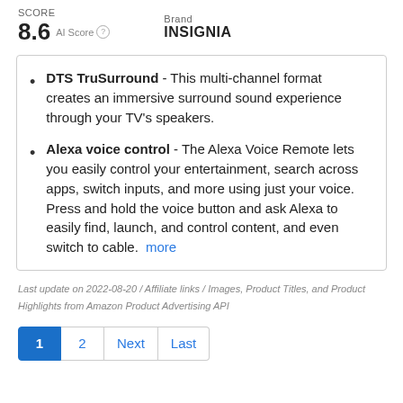SCORE 8.6 AI Score  Brand INSIGNIA
DTS TruSurround - This multi-channel format creates an immersive surround sound experience through your TV's speakers.
Alexa voice control - The Alexa Voice Remote lets you easily control your entertainment, search across apps, switch inputs, and more using just your voice. Press and hold the voice button and ask Alexa to easily find, launch, and control content, and even switch to cable. more
Last update on 2022-08-20 / Affiliate links / Images, Product Titles, and Product Highlights from Amazon Product Advertising API
1 2 Next Last